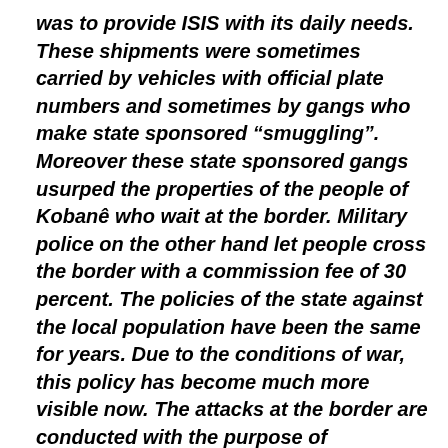was to provide ISIS with its daily needs. These shipments were sometimes carried by vehicles with official plate numbers and sometimes by gangs who make state sponsored “smuggling”. Moreover these state sponsored gangs usurped the properties of the people of Kobanê who wait at the border. Military police on the other hand let people cross the border with a commission fee of 30 percent. The policies of the state against the local population have been the same for years. Due to the conditions of war, this policy has become much more visible now. The attacks at the border are conducted with the purpose of intimidating the people in border watch actions and the people of the border villages.
Although the Turkish State denies this, it was more or less known that it supports ISIS. However you say that